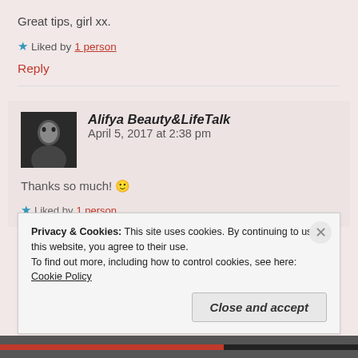Great tips, girl xx.
★ Liked by 1 person
Reply
Alifya Beauty&LifeTalk   April 5, 2017 at 2:38 pm
Thanks so much! 🙂
★ Liked by 1 person
Privacy & Cookies: This site uses cookies. By continuing to use this website, you agree to their use. To find out more, including how to control cookies, see here: Cookie Policy
Close and accept